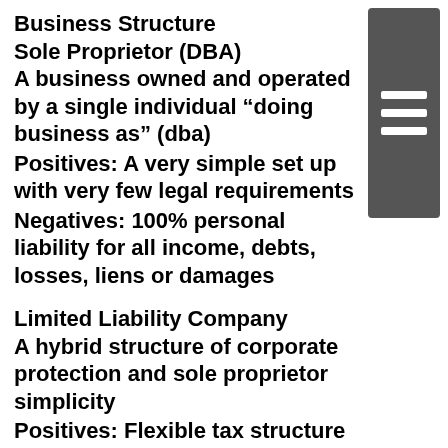Business Structure
Sole Proprietor (DBA)
A business owned and operated by a single individual “doing business as” (dba)
Positives:  A very simple set up with very few legal requirements
Negatives:  100% personal liability for all income, debts, losses, liens or damages
Limited Liability Company
A hybrid structure of corporate protection and sole proprietor simplicity
Positives:  Flexible tax structure and limited personal liability
Negatives:  Requires initial set up and fees as w…nual